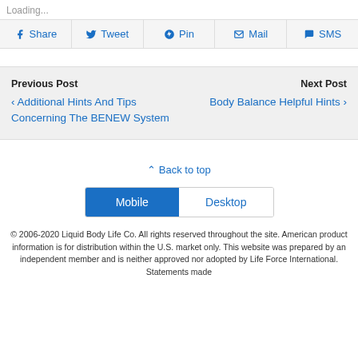Loading...
Share  Tweet  Pin  Mail  SMS
Previous Post
‹ Additional Hints And Tips Concerning The BENEW System
Next Post
Body Balance Helpful Hints ›
⇧ Back to top
Mobile  Desktop
© 2006-2020 Liquid Body Life Co. All rights reserved throughout the site. American product information is for distribution within the U.S. market only. This website was prepared by an independent member and is neither approved nor adopted by Life Force International. Statements made